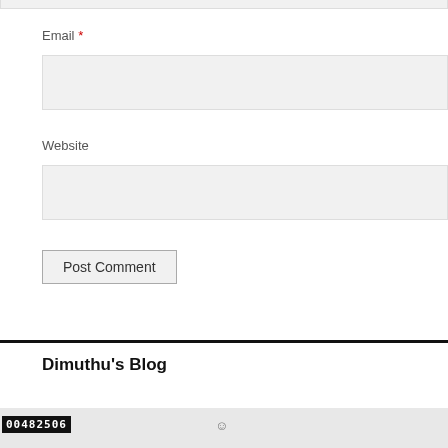Email *
Website
Post Comment
Dimuthu's Blog
00482506